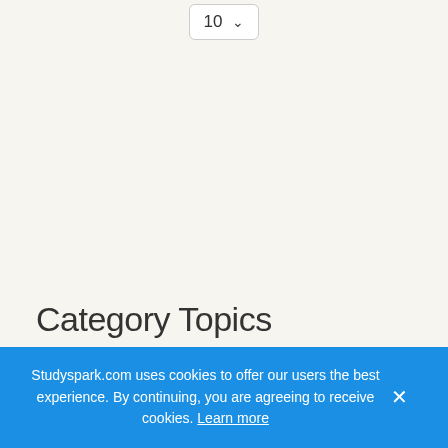[Figure (screenshot): A dropdown control showing the number 10 with a downward chevron arrow, styled as a UI select element with rounded border]
Category Topics
Critical Thinking
Studyspark.com uses cookies to offer our users the best experience. By continuing, you are agreeing to receive cookies. Learn more